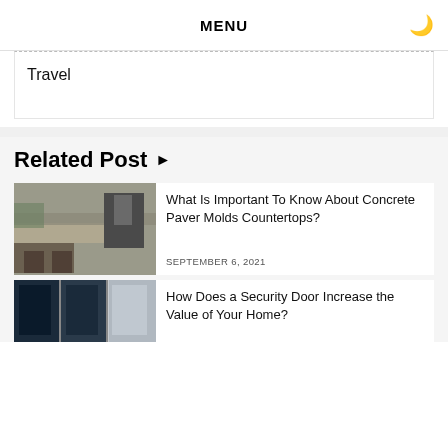MENU
Travel
Related Post ▶
[Figure (photo): Kitchen counter with granite countertop and bar stools, stainless steel appliances in background]
What Is Important To Know About Concrete Paver Molds Countertops?
SEPTEMBER 6, 2021
[Figure (photo): Dark blue security door exterior view]
How Does a Security Door Increase the Value of Your Home?